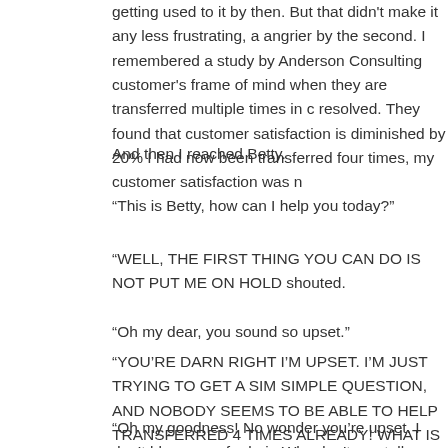getting used to it by then. But that didn't make it any less frustrating, a angrier by the second. I remembered a study by Anderson Consulting customer's frame of mind when they are transferred multiple times in c resolved. They found that customer satisfaction is diminished by 20% I had now been transferred four times, my customer satisfaction was n
And then I reached Betty.
“This is Betty, how can I help you today?”
“WELL, THE FIRST THING YOU CAN DO IS NOT PUT ME ON HOLD shouted.
“Oh my dear, you sound so upset.”
“YOU'RE DARN RIGHT I'M UPSET. I'M JUST TRYING TO GET A SIM SIMPLE QUESTION, AND NOBODY SEEMS TO BE ABLE TO HELP TRANSFERRED 4 TIMES ALREADY! WHAT IS WRONG WITH YOU
“Oh my goodness! No wonder you’re upset. I don’t blame you for bein Why don’t you tell me what you want to know and I’ll see what I can d